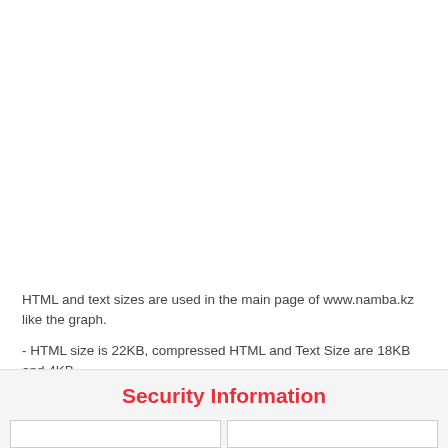HTML and text sizes are used in the main page of www.namba.kz like the graph.
- HTML size is 22KB, compressed HTML and Text Size are 18KB and 4KB.
- There is up to 0 percent of the difference between the size of HTML and the compressed HTML size. If you can compress your HTML, you can have a smaller size site.
Security Information
|  |  |